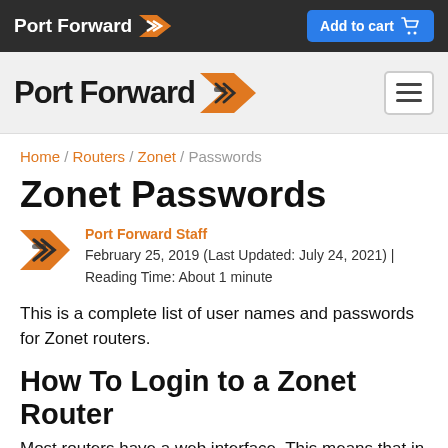Port Forward | Add to cart
Port Forward (navigation bar with hamburger menu)
Home / Routers / Zonet / Passwords
Zonet Passwords
Port Forward Staff
February 25, 2019 (Last Updated: July 24, 2021) | Reading Time: About 1 minute
This is a complete list of user names and passwords for Zonet routers.
How To Login to a Zonet Router
Most routers have a web interface. This means that in order to login to them you start with your web